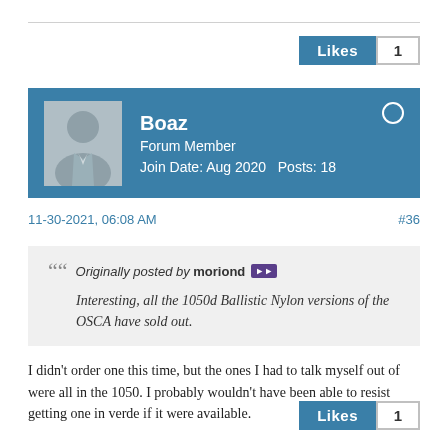[Figure (other): Likes button with count 1 at top right]
Boaz
Forum Member
Join Date: Aug 2020    Posts: 18
11-30-2021, 06:08 AM
#36
Originally posted by moriond
Interesting, all the 1050d Ballistic Nylon versions of the OSCA have sold out.
I didn't order one this time, but the ones I had to talk myself out of were all in the 1050. I probably wouldn't have been able to resist getting one in verde if it were available.
[Figure (other): Likes button with count 1 at bottom right]